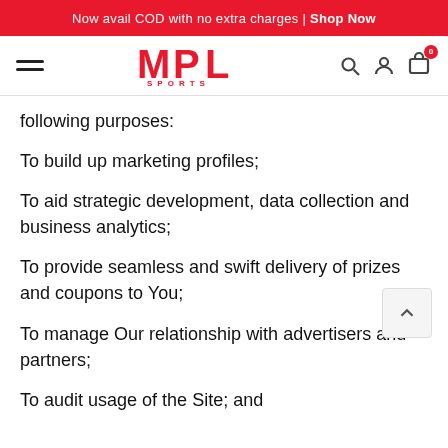Now avail COD with no extra charges | Shop Now
[Figure (logo): MPL Sports logo with hamburger menu, search, user, and cart icons]
following purposes:
To build up marketing profiles;
To aid strategic development, data collection and business analytics;
To provide seamless and swift delivery of prizes and coupons to You;
To manage Our relationship with advertisers and partners;
To audit usage of the Site; and